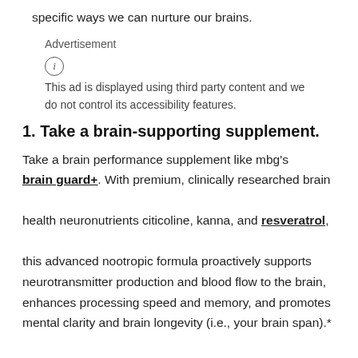specific ways we can nurture our brains.
Advertisement
[Figure (other): Info icon: circle with letter i inside]
This ad is displayed using third party content and we do not control its accessibility features.
1. Take a brain-supporting supplement.
Take a brain performance supplement like mbg's brain guard+. With premium, clinically researched brain health neuronutrients citicoline, kanna, and resveratrol, this advanced nootropic formula proactively supports neurotransmitter production and blood flow to the brain, enhances processing speed and memory, and promotes mental clarity and brain longevity (i.e., your brain span).*